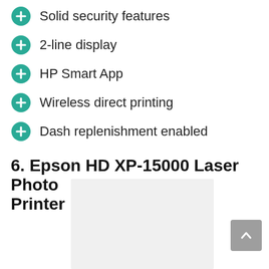Solid security features
2-line display
HP Smart App
Wireless direct printing
Dash replenishment enabled
6. Epson HD XP-15000 Laser Photo Printer
[Figure (photo): Light gray rectangular placeholder image of the Epson HD XP-15000 Laser Photo Printer product]